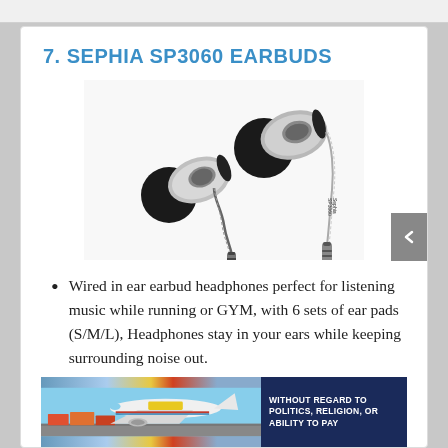7. SEPHIA SP3060 EARBUDS
[Figure (photo): Photo of Sephia SP3060 earbuds showing two in-ear earphones with black silicone tips, silver metallic housings, and a braided cable with a gold/silver 3.5mm audio jack]
Wired in ear earbud headphones perfect for listening music while running or GYM, with 6 sets of ear pads (S/M/L), Headphones stay in your ears while keeping surrounding noise out.
[Figure (photo): Advertisement banner showing an airplane being loaded with cargo, with overlay text reading WITHOUT REGARD TO POLITICS, RELIGION, OR ABILITY TO PAY]